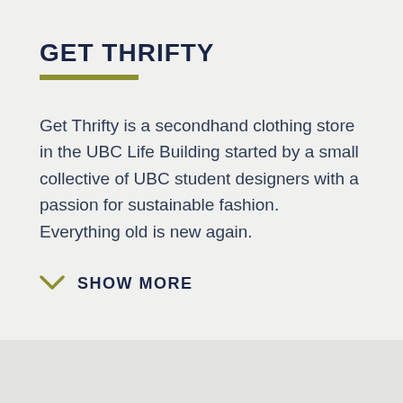GET THRIFTY
Get Thrifty is a secondhand clothing store in the UBC Life Building started by a small collective of UBC student designers with a passion for sustainable fashion. Everything old is new again.
SHOW MORE